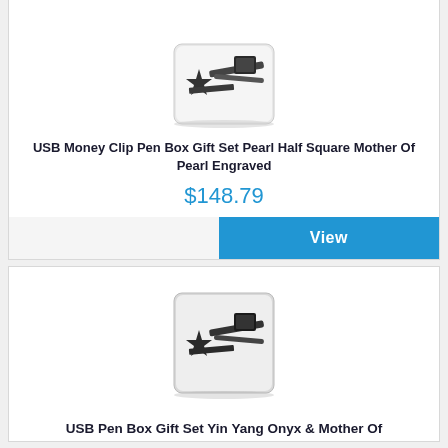[Figure (photo): USB Money Clip Pen Box Gift Set product photo showing a white square gift box with various pen and money clip accessories arranged on top]
USB Money Clip Pen Box Gift Set Pearl Half Square Mother Of Pearl Engraved
$148.79
View
[Figure (photo): USB Pen Box Gift Set product photo showing similar white square gift box with pen accessories]
USB Pen Box Gift Set Yin Yang Onyx & Mother Of